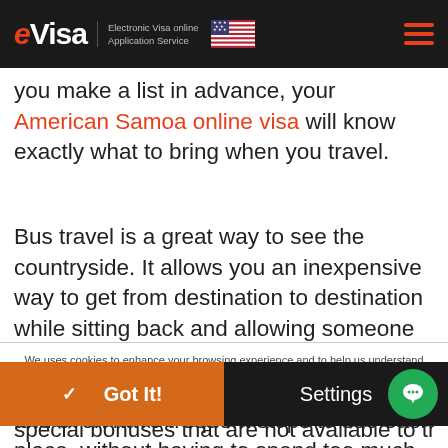eVisa Electronic Visa online Application Service
you make a list in advance, your American Samoa online visa will know exactly what to bring when you travel.
Bus travel is a great way to see the countryside. It allows you an inexpensive way to get from destination to destination while sitting back and allowing someone else to do the driving. You will get to enjoy the American Samoa eta visa scenery and even have frequent stops to see each place, without having to spend too much or bother
We uses cookies to enhance your browsing experience and to help us understand how to improve usability. For more privacy information on how these cookies work. Read more →
✓  Got It!
Settings
special bonuses that are not available to the